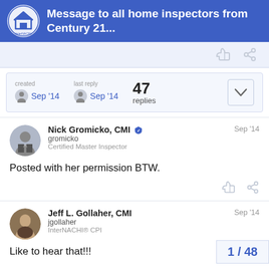Message to all home inspectors from Century 21...
created Sep '14  last reply Sep '14  47 replies
Nick Gromicko, CMI
gromicko
Certified Master Inspector
Sep '14
Posted with her permission BTW.
Jeff L. Gollaher, CMI
jgollaher
InterNACHI® CPI
Sep '14
Like to hear that!!!
1 / 48